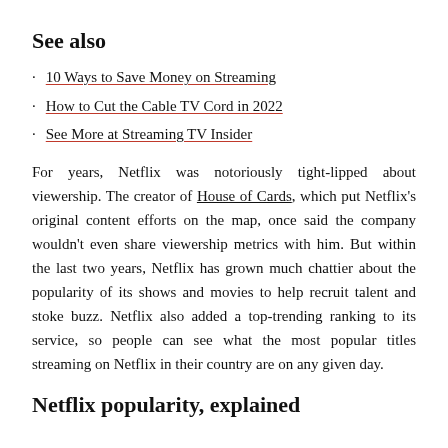See also
10 Ways to Save Money on Streaming
How to Cut the Cable TV Cord in 2022
See More at Streaming TV Insider
For years, Netflix was notoriously tight-lipped about viewership. The creator of House of Cards, which put Netflix's original content efforts on the map, once said the company wouldn't even share viewership metrics with him. But within the last two years, Netflix has grown much chattier about the popularity of its shows and movies to help recruit talent and stoke buzz. Netflix also added a top-trending ranking to its service, so people can see what the most popular titles streaming on Netflix in their country are on any given day.
Netflix popularity, explained